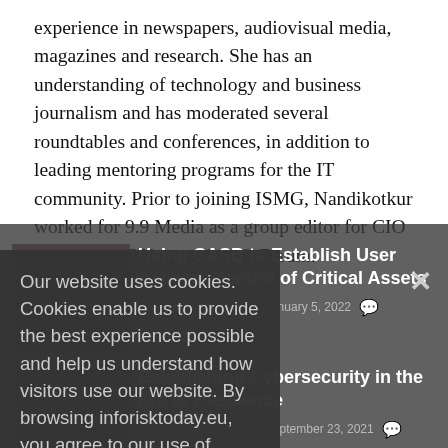experience in newspapers, audiovisual media, magazines and research. She has an understanding of technology and business journalism and has moderated several roundtables and conferences, in addition to leading mentoring programs for the IT community. Prior to joining ISMG, Nandikotkur worked for 9.9 Media as a group editor for CIO & Leader, IT Next and CSO Forum.
[Figure (screenshot): Cookie consent popup overlay reading: Our website uses cookies. Cookies enable us to provide the best experience possible and help us understand how visitors use our website. By browsing inforisktoday.eu, you agree to our use of cookies.]
Our website uses cookies. Cookies enable us to provide the best experience possible and help us understand how visitors use our website. By browsing inforisktoday.eu, you agree to our use of cookies.
Using CASB to Establish User Access, Control of Critical Assets
Geetha Nandikotkur • January 5, 2022
Establishing Cybersecurity in the Era of Resilience
Geetha Nandikotkur • September 23, 2021